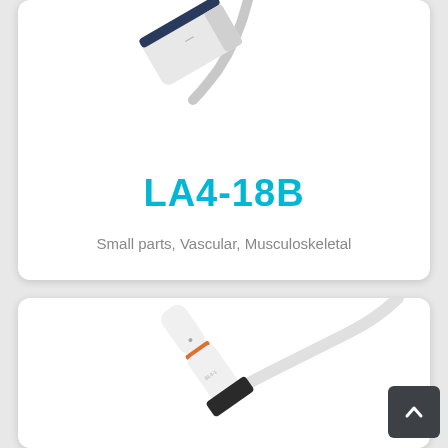[Figure (photo): Ultrasound probe LA4-18B shown at angle from above, white and dark blue/grey colored linear transducer]
LA4-18B
Small parts, Vascular, Musculoskeletal
[Figure (photo): Second ultrasound probe shown from side angle, white colored with orange band near cable, black transducer head]